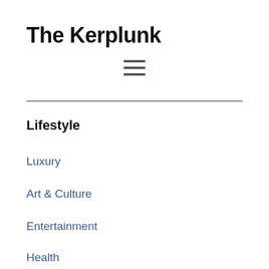The Kerplunk
[Figure (other): Hamburger menu icon with three horizontal lines]
Lifestyle
Luxury
Art & Culture
Entertainment
Health